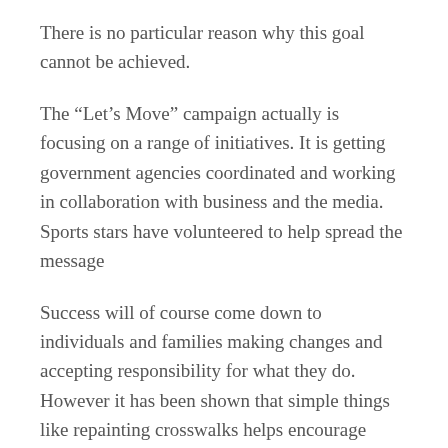There is no particular reason why this goal cannot be achieved.
The “Let’s Move” campaign actually is focusing on a range of initiatives. It is getting government agencies coordinated and working in collaboration with business and the media. Sports stars have volunteered to help spread the message
Success will of course come down to individuals and families making changes and accepting responsibility for what they do. However it has been shown that simple things like repainting crosswalks helps encourage children to walk to school hence providing some exercise. Giving parents useful information about foods and dispelling myths about junk food being cheaper will also help. The support of three major suppliers of school lunches to reduce fat and